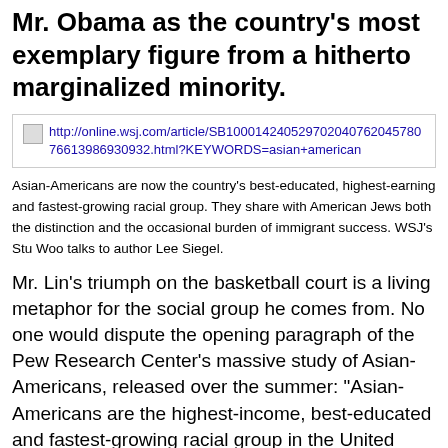Mr. Obama as the country's most exemplary figure from a hitherto marginalized minority.
[Figure (screenshot): A link box containing a URL: http://online.wsj.com/article/SB10001424052970204076204578076613986930932.html?KEYWORDS=asian+american]
Asian-Americans are now the country's best-educated, highest-earning and fastest-growing racial group. They share with American Jews both the distinction and the occasional burden of immigrant success. WSJ's Stu Woo talks to author Lee Siegel.
Mr. Lin's triumph on the basketball court is a living metaphor for the social group he comes from. No one would dispute the opening paragraph of the Pew Research Center's massive study of Asian-Americans, released over the summer: "Asian-Americans are the highest-income, best-educated and fastest-growing racial group in the United States. They are more satisfied than the general public with their lives, finances and the direction of the country, and they place more value than other Americans do on marriage, parenthood, hard work and career success." Or as Mr. Lin put it in a video of congratulation he made last spring for the overwhelmingly Asian-American graduates of New York City's famed Stuyvesant